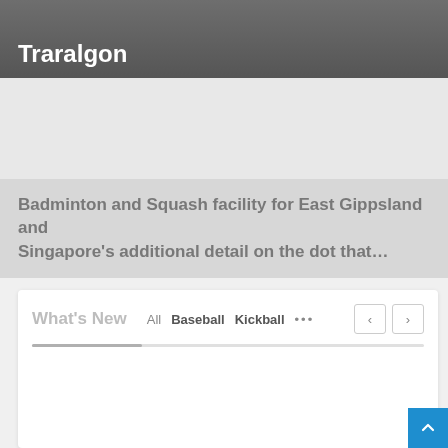Traralgon
Badminton and Squash facility for East Gippsland and Singapore's additional detail on the dot that…
What's New
All  Baseball  Kickball  ...